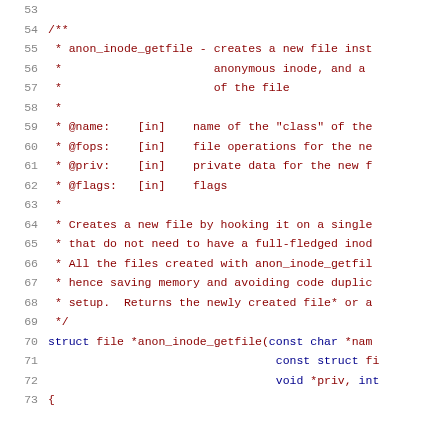[Figure (screenshot): Source code listing showing lines 53-73 of a C source file. Lines show a kernel doc comment for anon_inode_getfile function followed by its function signature. Comment lines are in dark red/maroon, keywords in dark blue.]